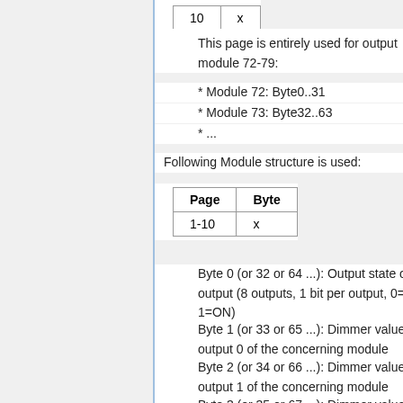| Page | Byte |
| --- | --- |
| 10 | x |
This page is entirely used for output module 72-79:
* Module 72: Byte0..31
* Module 73: Byte32..63
* ...
Following Module structure is used:
| Page | Byte |
| --- | --- |
| 1-10 | x |
Byte 0 (or 32 or 64 ...): Output state of this output (8 outputs, 1 bit per output, 0=OFF, 1=ON)
Byte 1 (or 33 or 65 ...): Dimmer value of output 0 of the concerning module
Byte 2 (or 34 or 66 ...): Dimmer value of output 1 of the concerning module
Byte 3 (or 35 or 67 ...): Dimmer value